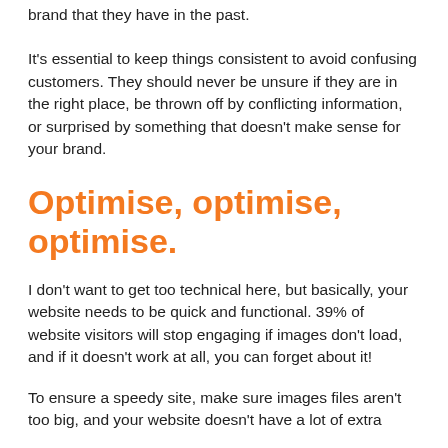brand that they have in the past.
It's essential to keep things consistent to avoid confusing customers. They should never be unsure if they are in the right place, be thrown off by conflicting information, or surprised by something that doesn't make sense for your brand.
Optimise, optimise, optimise.
I don't want to get too technical here, but basically, your website needs to be quick and functional. 39% of website visitors will stop engaging if images don't load, and if it doesn't work at all, you can forget about it!
To ensure a speedy site, make sure images files aren't too big, and your website doesn't have a lot of extra